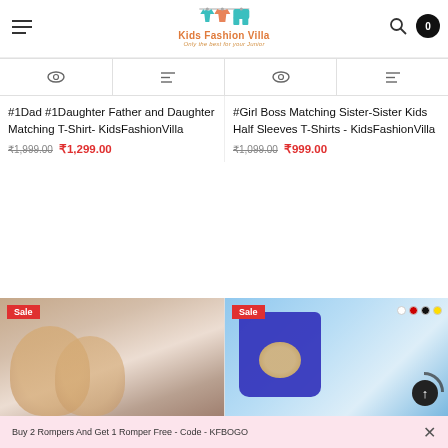Kids Fashion Villa — Only the best for your Junior
[Figure (screenshot): Action bar with eye and list icons for first product (left)]
[Figure (screenshot): Action bar with eye and list icons for second product (right)]
#1Dad #1Daughter Father and Daughter Matching T-Shirt- KidsFashionVilla
₹1,999.00  ₹1,299.00
#Girl Boss Matching Sister-Sister Kids Half Sleeves T-Shirts - KidsFashionVilla
₹1,099.00  ₹999.00
[Figure (photo): Two young girls smiling, Sale badge shown]
[Figure (photo): Blue kids romper set with bear graphic, Sale badge and color swatches]
Buy 2 Rompers And Get 1 Romper Free - Code - KFBOGO